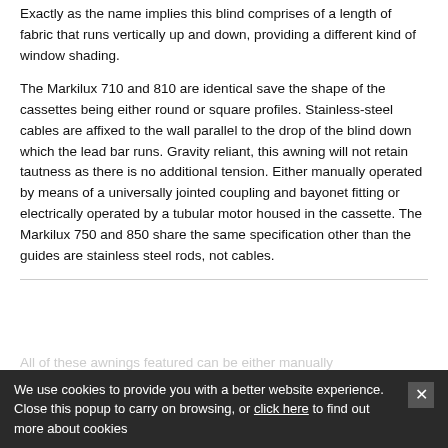Exactly as the name implies this blind comprises of a length of fabric that runs vertically up and down, providing a different kind of window shading.
The Markilux 710 and 810 are identical save the shape of the cassettes being either round or square profiles. Stainless-steel cables are affixed to the wall parallel to the drop of the blind down which the lead bar runs. Gravity reliant, this awning will not retain tautness as there is no additional tension. Either manually operated by means of a universally jointed coupling and bayonet fitting or electrically operated by a tubular motor housed in the cassette. The Markilux 750 and 850 share the same specification other than the guides are stainless steel rods, not cables.
All of these awnings featured can be either manually
We use cookies to provide you with a better website experience. Close this popup to carry on browsing, or click here to find out more about cookies